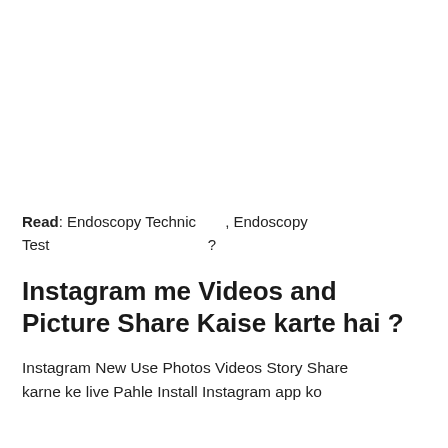Read: Endoscopy Technic , Endoscopy Test ?
Instagram me Videos and Picture Share Kaise karte hai ?
Instagram New Use Photos Videos Story Share karne ke live Pahle Install Instagram app ko